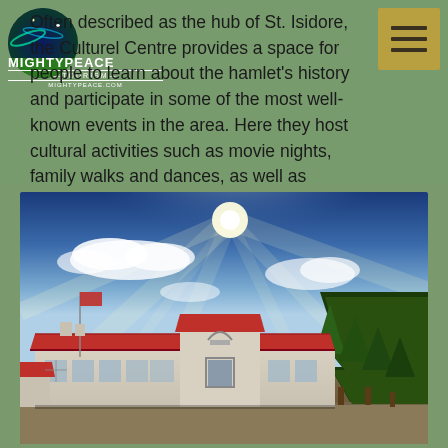Often described as the hub of St. Isidore, the Culturel Centre provides a space for people to learn about the hamlet's history and participate in some of the most well-known events in the area. Here they host cultural activities such as movie nights, family walks and dances, as well as sports, including volleyball, pickleball and badminton.
[Figure (photo): Exterior photograph of a low-rise white building with a red metal roof under a bright sunny sky with dramatic clouds and rays of light. Spruce or pine trees are visible to the right. The building has a central arched entryway and extends horizontally with multiple windows.]